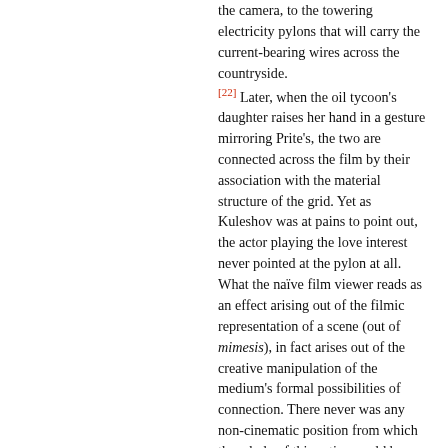the camera, to the towering electricity pylons that will carry the current-bearing wires across the countryside. [22] Later, when the oil tycoon's daughter raises her hand in a gesture mirroring Prite's, the two are connected across the film by their association with the material structure of the grid. Yet as Kuleshov was at pains to point out, the actor playing the love interest never pointed at the pylon at all. What the naïve film viewer reads as an effect arising out of the filmic representation of a scene (out of mimesis), in fact arises out of the creative manipulation of the medium's formal possibilities of connection. There never was any non-cinematic position from which the whole of this action could be seen and understood as conveying a certain meaning.
In Kuleshov's account of Engineer Prite's Project, montage emerges as a